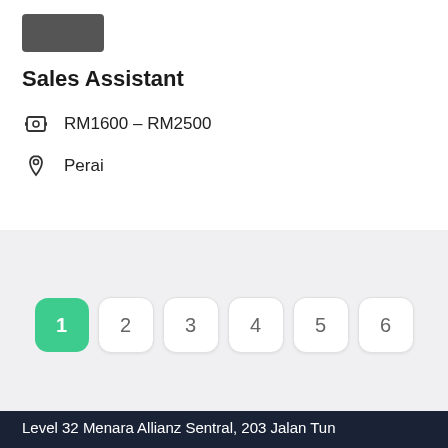[Figure (photo): Partial image/logo at top left]
Sales Assistant
RM1600 – RM2500
Perai
1 2 3 4 5 6 (pagination)
Level 32 Menara Allianz Sentral, 203 Jalan Tun